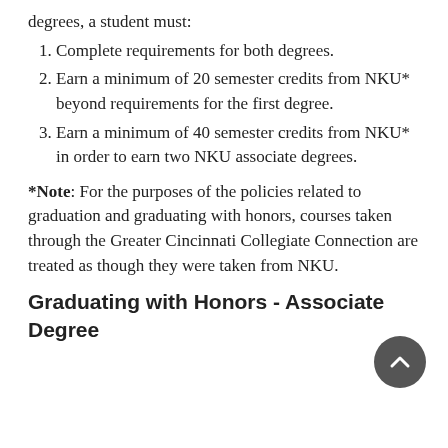degrees, a student must:
Complete requirements for both degrees.
Earn a minimum of 20 semester credits from NKU* beyond requirements for the first degree.
Earn a minimum of 40 semester credits from NKU* in order to earn two NKU associate degrees.
*Note: For the purposes of the policies related to graduation and graduating with honors, courses taken through the Greater Cincinnati Collegiate Connection are treated as though they were taken from NKU.
Graduating with Honors - Associate Degree